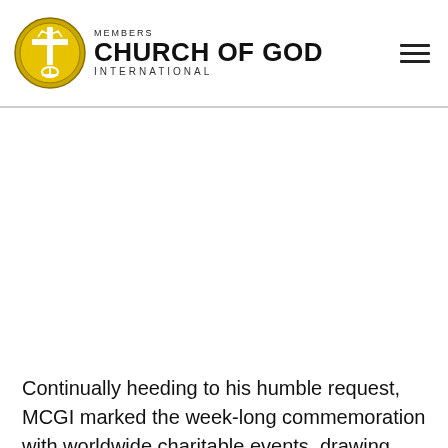MEMBERS CHURCH OF GOD INTERNATIONAL
[Figure (photo): Large blank/white image area below the header, likely a photo placeholder or image that did not load]
Continually heeding to his humble request, MCGI marked the week-long commemoration with worldwide charitable events, drawing inspiration from Brother Eli’s Bible-based